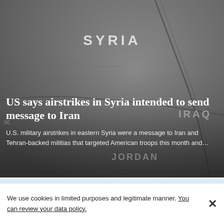[Figure (map): A dark greyscale map showing Syria, with portions of Iraq and Jordan visible. Text labels 'SYRIA', 'IRAQ', and 'JORDAN' are visible on the map, along with road/border lines.]
US says airstrikes in Syria intended to send message to Iran
U.S. military airstrikes in eastern Syria were a message to Iran and Tehran-backed militias that targeted American troops this month and...
We use cookies in limited purposes and legitimate manner. You can review your data policy.